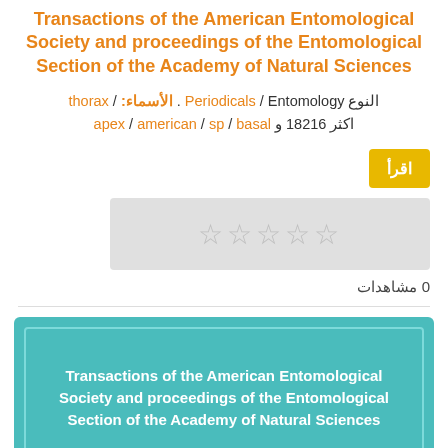Transactions of the American Entomological Society and proceedings of the Entomological Section of the Academy of Natural Sciences
النوع Periodicals / Entomology . الأسماء: / thorax
basal / sp / american / apex و 18216 اكثر
اقرأ
[Figure (other): Star rating widget showing 5 empty/greyed stars]
0 مشاهدات
[Figure (other): Teal card with inner border containing bold white text: Transactions of the American Entomological Society and proceedings of the Entomological Section of the Academy of Natural Sciences]